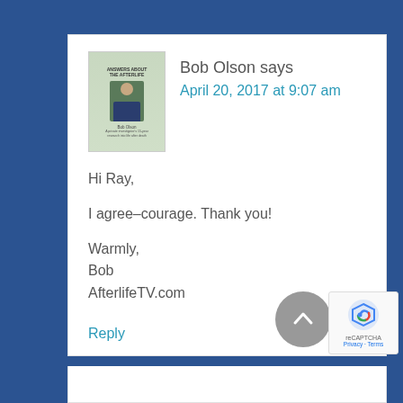Bob Olson says
April 20, 2017 at 9:07 am
Hi Ray,

I agree–courage. Thank you!

Warmly,
Bob
AfterlifeTV.com
Reply